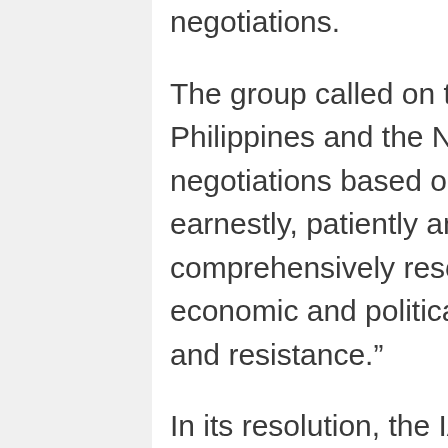negotiations.
The group called on the Government of the Philippines and the NDFP to resume the negotiations based on their previous agreements “to earnestly, patiently and sincerely address and comprehensively resolve the underlying social, economic and political reasons for the armed conflict and resistance.”
In its resolution, the IADL also